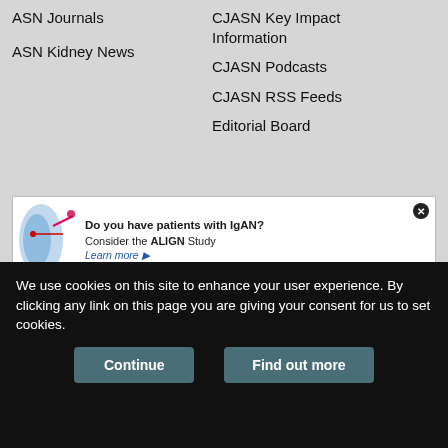ASN Journals
ASN Kidney News
CJASN Key Impact Information
CJASN Podcasts
CJASN RSS Feeds
Editorial Board
[Figure (infographic): Advertisement banner: Do you have patients with IgAN? Consider the ALIGN Study. Learn more. ALIGN logo with kidney illustration.]
[Figure (logo): ASN (American Society of Nephrology) logo with overlapping colored circles (orange, purple, teal, green) and bold blue ASN text, with subtitle American Society of Nephrology]
© 2022 American Society of Nephrology
We use cookies on this site to enhance your user experience. By clicking any link on this page you are giving your consent for us to set cookies.
Continue   Find out more